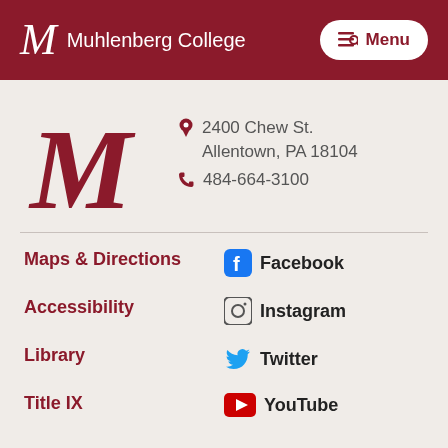Muhlenberg College — Menu
[Figure (logo): Large red cursive M logo for Muhlenberg College]
2400 Chew St. Allentown, PA 18104
484-664-3100
Maps & Directions
Facebook
Accessibility
Instagram
Library
Twitter
Title IX
YouTube